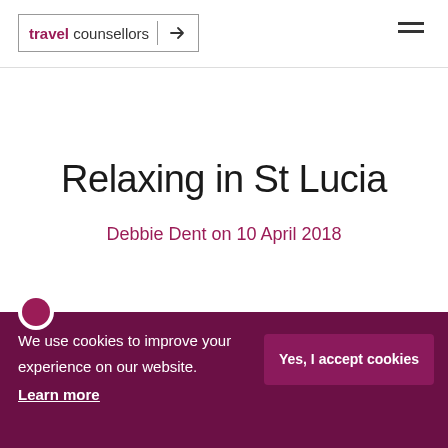travel counsellors
Relaxing in St Lucia
Debbie Dent on 10 April 2018
We use cookies to improve your experience on our website. Learn more
Yes, I accept cookies